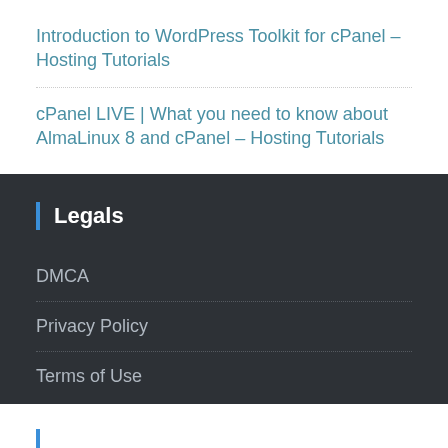Introduction to WordPress Toolkit for cPanel – Hosting Tutorials
cPanel LIVE | What you need to know about AlmaLinux 8 and cPanel – Hosting Tutorials
Legals
DMCA
Privacy Policy
Terms of Use
Archives